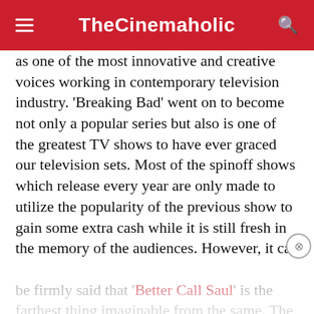TheCinemaholic
as one of the most innovative and creative voices working in contemporary television industry. 'Breaking Bad' went on to become not only a popular series but also is one of the greatest TV shows to have ever graced our television sets. Most of the spinoff shows which release every year are only made to utilize the popularity of the previous show to gain some extra cash while it is still fresh in the memory of the audiences. However, it can be firmly said that 'Better Call Saul' is the farthest thing imaginable from the same. The series is a true masterpiece in its own right and is probably as good as 'Breaking Bad' in